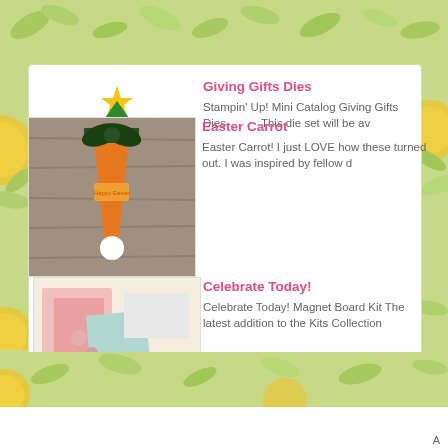[Figure (illustration): Light green/yellow citrus and leaf decorative background pattern]
Giving Gifts Dies
Stampin' Up! Mini Catalog Giving Gifts Dies                This die set will be av
[Figure (photo): Thumbnail image of Giving Gifts Dies product - decorated Christmas tree die cut]
Celebrate Today!
Celebrate Today! Magnet Board Kit The latest addition to the Kits Collection
[Figure (photo): Thumbnail image of Celebrate Today Magnet Board Kit product]
Easter Carrot
Easter Carrot!  I just LOVE how these turned out.  I was inspired by fellow d
[Figure (photo): Thumbnail image of Easter Carrot craft project]
A